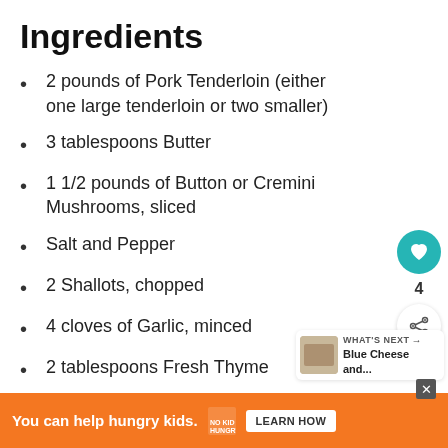Ingredients
2 pounds of Pork Tenderloin (either one large tenderloin or two smaller)
3 tablespoons Butter
1 1/2 pounds of Button or Cremini Mushrooms, sliced
Salt and Pepper
2 Shallots, chopped
4 cloves of Garlic, minced
2 tablespoons Fresh Thyme
You can help hungry kids. NO KID HUNGRY LEARN HOW